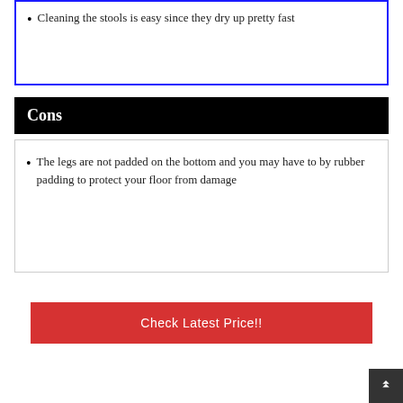Cleaning the stools is easy since they dry up pretty fast
Cons
The legs are not padded on the bottom and you may have to by rubber padding to protect your floor from damage
Check Latest Price!!